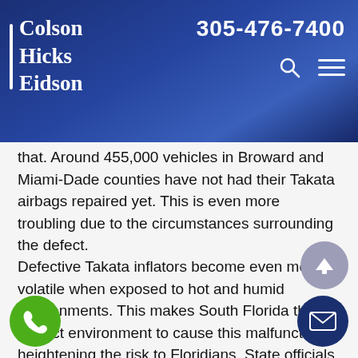Colson Hicks Eidson | 305-476-7400
that. Around 455,000 vehicles in Broward and Miami-Dade counties have not had their Takata airbags repaired yet. This is even more troubling due to the circumstances surrounding the defect.
Defective Takata inflators become even more volatile when exposed to hot and humid environments. This makes South Florida the perfect environment to cause this malfunction, heightening the risk to Floridians. State officials are so concerned about the problem that they are considering a statewide mandatory recall program. This program would prevent drivers from having their licenses and vehicle registration till outstanding recalls are addressed.